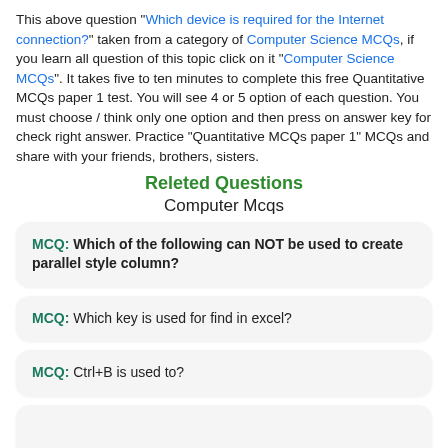This above question "Which device is required for the Internet connection?" taken from a category of Computer Science MCQs, if you learn all question of this topic click on it "Computer Science MCQs". It takes five to ten minutes to complete this free Quantitative MCQs paper 1 test. You will see 4 or 5 option of each question. You must choose / think only one option and then press on answer key for check right answer. Practice "Quantitative MCQs paper 1" MCQs and share with your friends, brothers, sisters.
Releted Questions
Computer Mcqs
MCQ: Which of the following can NOT be used to create parallel style column?
MCQ: Which key is used for find in excel?
MCQ: Ctrl+B is used to?